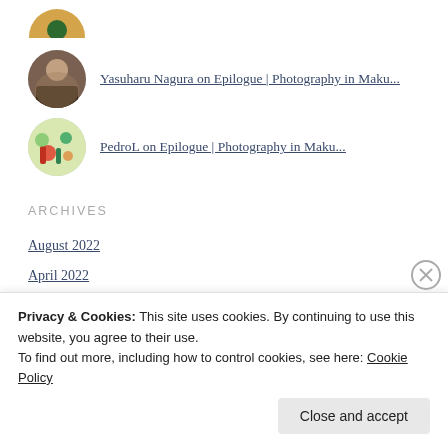Yasuharu Nagura on Epilogue | Photography in Maku...
PedroL on Epilogue | Photography in Maku...
ARCHIVES
August 2022
April 2022
March 2022
February 2022
Privacy & Cookies: This site uses cookies. By continuing to use this website, you agree to their use.
To find out more, including how to control cookies, see here: Cookie Policy
Close and accept